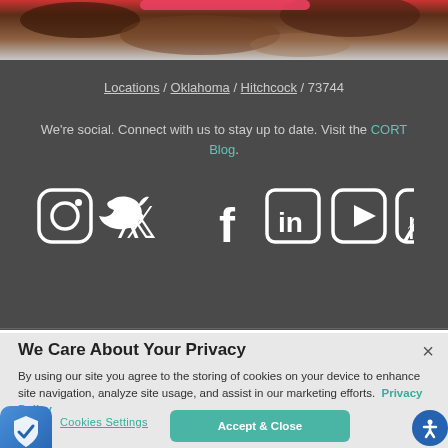[Figure (photo): Partial view of cowhide or animal fur texture in brown and white, with a red/pink button element at top]
Locations / Oklahoma / Hitchcock / 73744
We're social. Connect with us to stay up to date. Visit the CORT Blog.
[Figure (illustration): Social media icons row: Instagram, Twitter, Facebook, LinkedIn, YouTube, Pinterest — white icons on dark background]
We Care About Your Privacy
By using our site you agree to the storing of cookies on your device to enhance site navigation, analyze site usage, and assist in our marketing efforts.  Privacy Policy
Cookies Settings
Accept & Close